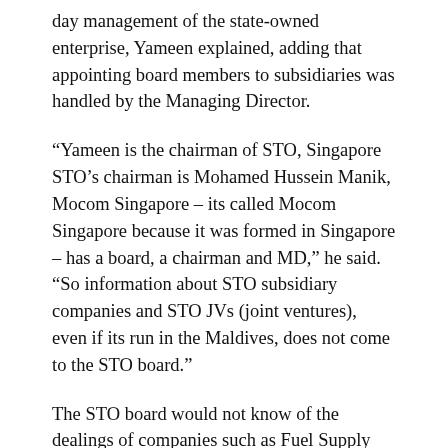day management of the state-owned enterprise, Yameen explained, adding that appointing board members to subsidiaries was handled by the Managing Director.
“Yameen is the chairman of STO, Singapore STO’s chairman is Mohamed Hussein Manik, Mocom Singapore – its called Mocom Singapore because it was formed in Singapore – has a board, a chairman and MD,” he said. “So information about STO subsidiary companies and STO JVs (joint ventures), even if its run in the Maldives, does not come to the STO board.”
The STO board would not know of the dealings of companies such as Fuel Supply Maldives, which supplies oil to resorts and inhabited islands, “because each company is a legal entity and its board has full discretion to conduct and model business